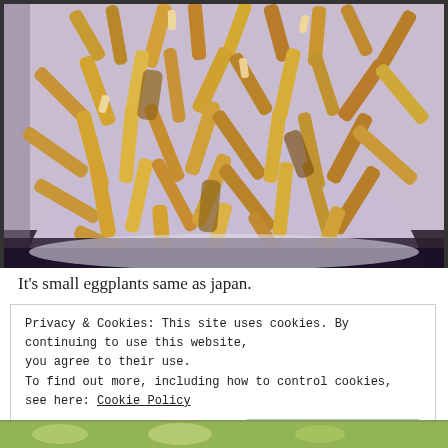[Figure (photo): Fried eggplant sticks/strips on a light purple/lavender plate, viewed from above]
It's small eggplants same as japan.
Privacy & Cookies: This site uses cookies. By continuing to use this website, you agree to their use.
To find out more, including how to control cookies, see here: Cookie Policy
Close and accept
[Figure (photo): Partial view of another food photo at the bottom of the page]